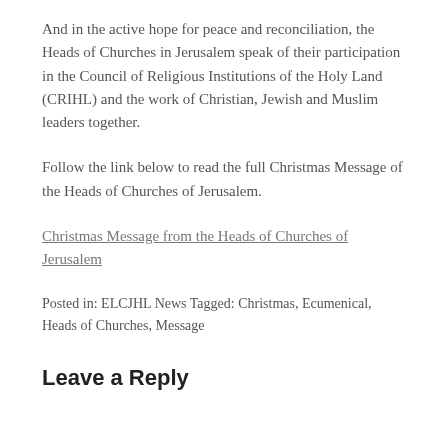And in the active hope for peace and reconciliation, the Heads of Churches in Jerusalem speak of their participation in the Council of Religious Institutions of the Holy Land (CRIHL) and the work of Christian, Jewish and Muslim leaders together.
Follow the link below to read the full Christmas Message of the Heads of Churches of Jerusalem.
Christmas Message from the Heads of Churches of Jerusalem
Posted in: ELCJHL News Tagged: Christmas, Ecumenical, Heads of Churches, Message
Leave a Reply